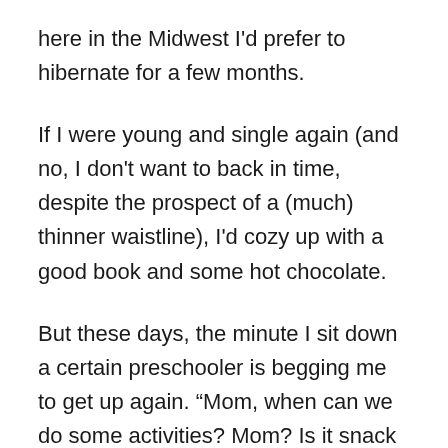here in the Midwest I'd prefer to hibernate for a few months.
If I were young and single again (and no, I don't want to back in time, despite the prospect of a (much) thinner waistline), I'd cozy up with a good book and some hot chocolate.
But these days, the minute I sit down a certain preschooler is begging me to get up again. “Mom, when can we do some activities? Mom? Is it snack time yet? Mom, I’m booored!”